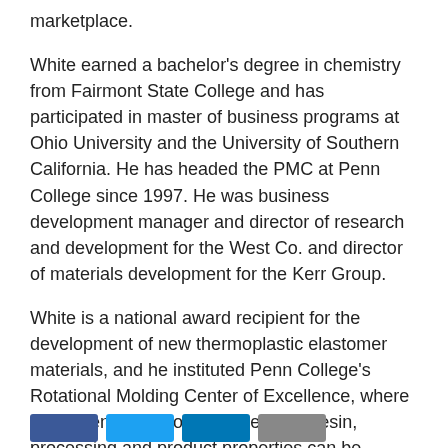marketplace.
White earned a bachelor's degree in chemistry from Fairmont State College and has participated in master of business programs at Ohio University and the University of Southern California. He has headed the PMC at Penn College since 1997. He was business development manager and director of research and development for the West Co. and director of materials development for the Kerr Group.
White is a national award recipient for the development of new thermoplastic elastomer materials, and he instituted Penn College's Rotational Molding Center of Excellence, where fundamental relationships between resin, processing and product properties can be developed.
For more information about the services offered by the PMC, call (570) 321-5533, send e-mail or visit online.
[Figure (other): Row of four social media / sharing button icons at bottom of page: dark blue (Facebook), light blue (Twitter), medium blue (LinkedIn), gray (email/other)]